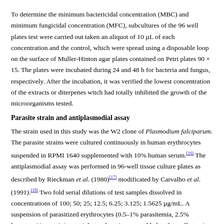To determine the minimum bactericidal concentration (MBC) and minimum fungicidal concentration (MFC), subcultures of the 96 well plates test were carried out taken an aliquot of 10 µL of each concentration and the control, which were spread using a disposable loop on the surface of Muller-Hinton agar plates contained on Petri plates 90 × 15. The plates were incubated during 24 and 48 h for bacteria and fungus, respectively. After the incubation, it was verified the lowest concentration of the extracts or diterpenes witch had totally inhibited the growth of the microorganisms tested.
Parasite strain and antiplasmodial assay
The strain used in this study was the W2 clone of Plasmodium falciparum. The parasite strains were cultured continuously in human erythrocytes suspended in RPMI 1640 supplemented with 10% human serum.[16] The antiplasmodial assay was performed in 96-well tissue culture plates as described by Rieckman et al. (1980)[17] modificated by Carvalho et al. (1991).[18] Two fold serial dilutions of test samples dissolved in concentrations of 100; 50; 25; 12.5; 6.25; 3.125; 1.5625 µg/mL. A suspension of parasitized erythrocytes (0.5–1% parasitemia, 2.5% hematocrit) containing mainly trophozoites was added to the walls to give a final